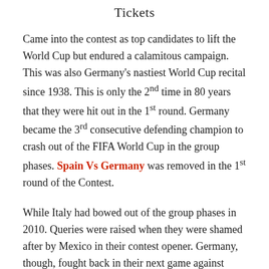Tickets
Came into the contest as top candidates to lift the World Cup but endured a calamitous campaign. This was also Germany's nastiest World Cup recital since 1938. This is only the 2nd time in 80 years that they were hit out in the 1st round. Germany became the 3rd consecutive defending champion to crash out of the FIFA World Cup in the group phases. Spain Vs Germany was removed in the 1st round of the Contest.
While Italy had bowed out of the group phases in 2010. Queries were raised when they were shamed after by Mexico in their contest opener. Germany, though, fought back in their next game against Sweden and